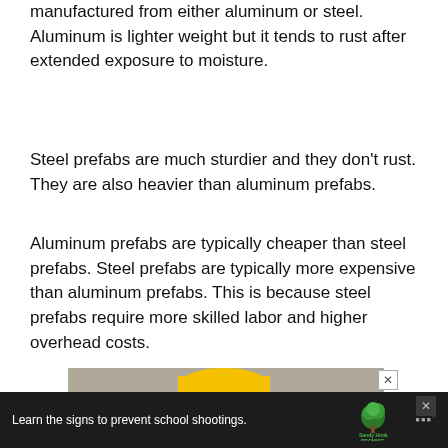manufactured from either aluminum or steel. Aluminum is lighter weight but it tends to rust after extended exposure to moisture.
Steel prefabs are much sturdier and they don’t rust. They are also heavier than aluminum prefabs.
Aluminum prefabs are typically cheaper than steel prefabs. Steel prefabs are typically more expensive than aluminum prefabs. This is because steel prefabs require more skilled labor and higher overhead costs.
[Figure (photo): A construction worker wearing a yellow hard hat and glasses, photographed from the shoulders up, with a partially visible sign reading 'TO YOU' in the background.]
Learn the signs to prevent school shootings. Sandy Hook Promise